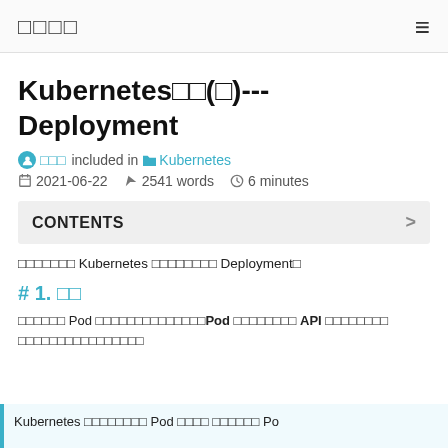□□□□  ≡
Kubernetes□□(□)--- Deployment
□□□ included in □Kubernetes
2021-06-22  2541 words  6 minutes
CONTENTS
□□□□□□□ Kubernetes □□□□□□□□ Deployment□
# 1. □□
□□□□□□ Pod □□□□□□□□□□□□□□Pod □□□□□□□□ API □□□□□□□□□□□□□□□□□□□□□□□
Kubernetes □□□□□□□□ Pod □□□□ □□□□□□ Po...